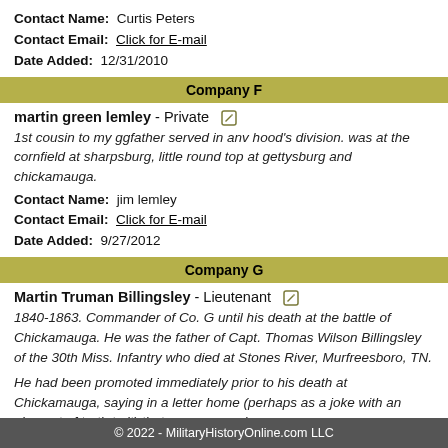Contact Name: Curtis Peters
Contact Email: Click for E-mail
Date Added: 12/31/2010
Company F
martin green lemley - Private
1st cousin to my ggfather served in anv hood's division. was at the cornfield at sharpsburg, little round top at gettysburg and chickamauga.
Contact Name: jim lemley
Contact Email: Click for E-mail
Date Added: 9/27/2012
Company G
Martin Truman Billingsley - Lieutenant
1840-1863. Commander of Co. G until his death at the battle of Chickamauga. He was the father of Capt. Thomas Wilson Billingsley of the 30th Miss. Infantry who died at Stones River, Murfreesboro, TN.
He had been promoted immediately prior to his death at Chickamauga, saying in a letter home (perhaps as a joke with an element of truth to it) that every man who
© 2022 - MilitaryHistoryOnline.com LLC